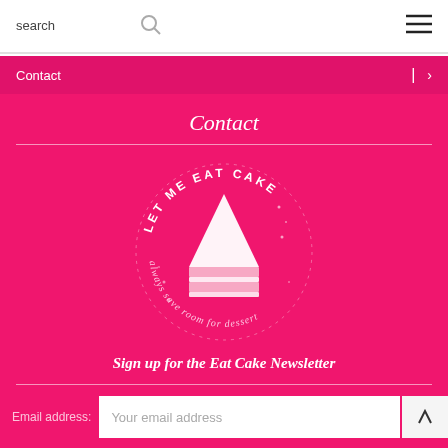search  ☰
Contact
Contact
[Figure (logo): Let Me Eat Cake circular logo with a slice of cake in the center and text reading 'LET ME EAT CAKE' on top and 'always save room for dessert' on the bottom, on a pink background.]
Sign up for the Eat Cake Newsletter
Email address:  Your email address